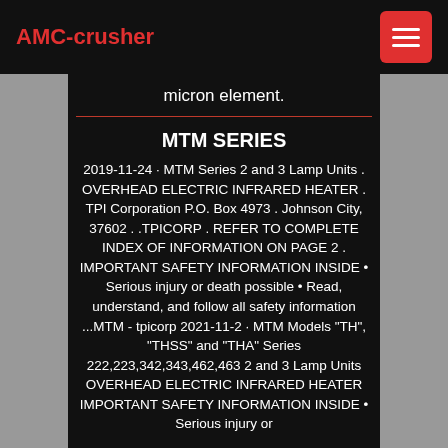AMC-crusher
micron element.
MTM SERIES
2019-11-24 · MTM Series 2 and 3 Lamp Units . OVERHEAD ELECTRIC INFRARED HEATER . TPI Corporation P.O. Box 4973 . Johnson City, 37602 . .TPICORP . REFER TO COMPLETE INDEX OF INFORMATION ON PAGE 2 . IMPORTANT SAFETY INFORMATION INSIDE • Serious injury or death possible • Read, understand, and follow all safety information ...MTM - tpicorp 2021-11-2 · MTM Models "TH", "THSS" and "THA" Series 222,223,342,343,462,463 2 and 3 Lamp Units OVERHEAD ELECTRIC INFRARED HEATER IMPORTANT SAFETY INFORMATION INSIDE • Serious injury or